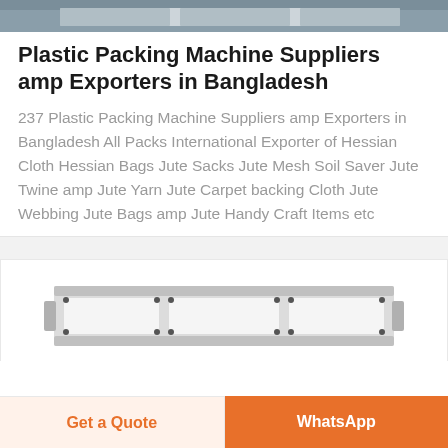[Figure (photo): Top portion of a photo showing industrial packing machinery, cropped at the top of the page]
Plastic Packing Machine Suppliers amp Exporters in Bangladesh
237 Plastic Packing Machine Suppliers amp Exporters in Bangladesh All Packs International Exporter of Hessian Cloth Hessian Bags Jute Sacks Jute Mesh Soil Saver Jute Twine amp Jute Yarn Jute Carpet backing Cloth Jute Webbing Jute Bags amp Jute Handy Craft Items etc
[Figure (photo): Partial image of industrial packing machine equipment with gray metal frame, white panels, and black bolt details]
Get a Quote
WhatsApp